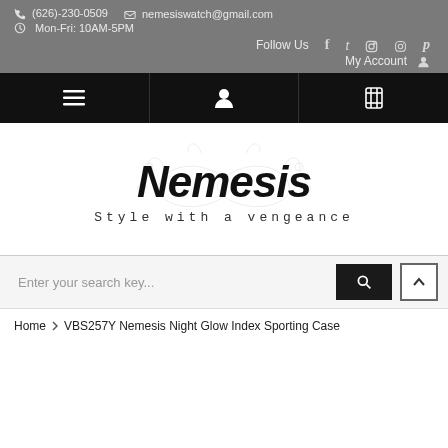(626)-230-0509  nemesiswatch@gmail.com  Mon-Fri: 10AM-5PM  Follow Us  My Account
[Figure (logo): Nemesis brand logo with decorative swirl background and tagline 'Style with a vengeance']
Enter your search key...
Home › VBS257Y Nemesis Night Glow Index Sporting Case